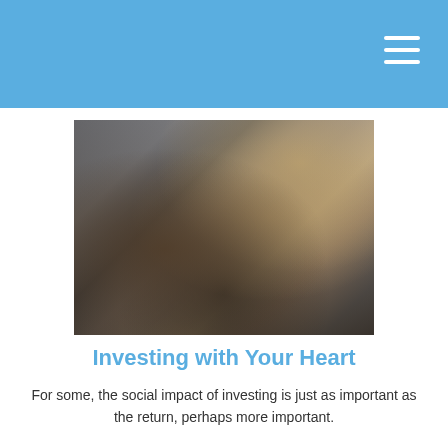[Figure (photo): Two people smiling and leaning toward each other, close-up portrait photo with dark clothing and warm tones]
Investing with Your Heart
For some, the social impact of investing is just as important as the return, perhaps more important.